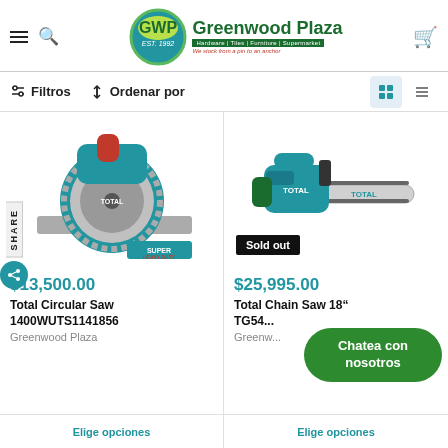Greenwood Plaza — Hardware | Tiles | Furniture | Supermarket
Filtros   Ordenar por
[Figure (photo): Total brand circular saw (teal/blue color) with red handle, 1400W, model UTS1141856. Super Heavy Duty badge visible.]
$13,500.00
Total Circular Saw 1400WUTS1141856
Greenwood Plaza
[Figure (photo): Total brand chainsaw (teal/blue color). Sold out badge visible.]
$25,995.00
Total Chain Saw 18" TG54...
Greenwood Plaza
Chatea con nosotros